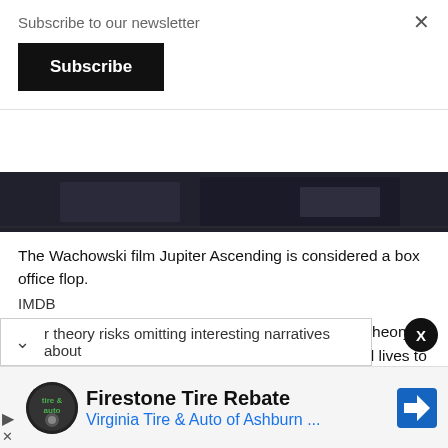Subscribe to our newsletter
Subscribe
[Figure (photo): Dark cinematic still from Jupiter Ascending film]
The Wachowski film Jupiter Ascending is considered a box office flop.
IMDB
This is an opportunity to look at the limits of auteur theory, and how much we should rely on directors' personal lives to shape the way we interpret media.
r theory risks omitting interesting narratives about
Firestone Tire Rebate
Virginia Tire & Auto of Ashburn ...